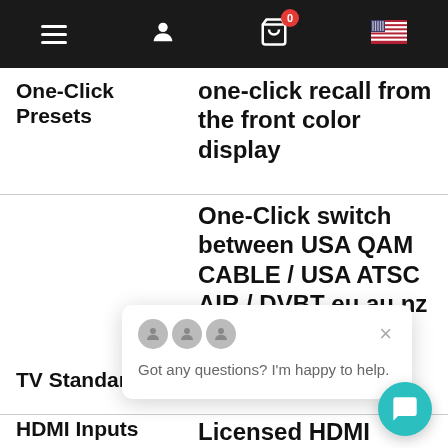Navigation bar with menu, user, cart (0), and flag icons
| Feature | Description |
| --- | --- |
| One-Click Presets | one-click recall from the front color display |
| TV Standards | One-Click switch between USA QAM CABLE / USA ATSC AIR / DVBT eu au nz ca... |
| HDMI Inputs | Licensed HDMI inputs compatible any HDMI video... |
Got any questions? I'm happy to help.